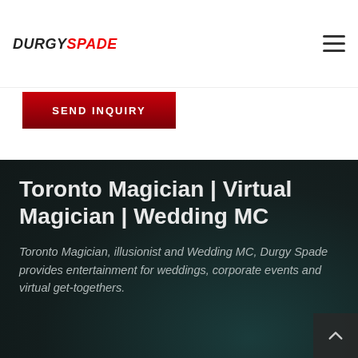DURGY SPADE
[Figure (screenshot): Red gradient SEND INQUIRY button]
Toronto Magician | Virtual Magician | Wedding MC
Toronto Magician, illusionist and Wedding MC, Durgy Spade provides entertainment for weddings, corporate events and virtual get-togethers.